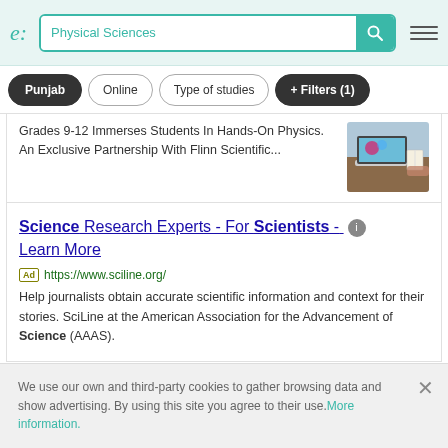Physical Sciences — search interface header with logo, search bar, and hamburger menu
Punjab | Online | Type of studies | + Filters (1)
Grades 9-12 Immerses Students In Hands-On Physics. An Exclusive Partnership With Flinn Scientific...
Science Research Experts - For Scientists - Learn More
Ad https://www.sciline.org/
Help journalists obtain accurate scientific information and context for their stories. SciLine at the American Association for the Advancement of Science (AAAS).
We use our own and third-party cookies to gather browsing data and show advertising. By using this site you agree to their use. More information.